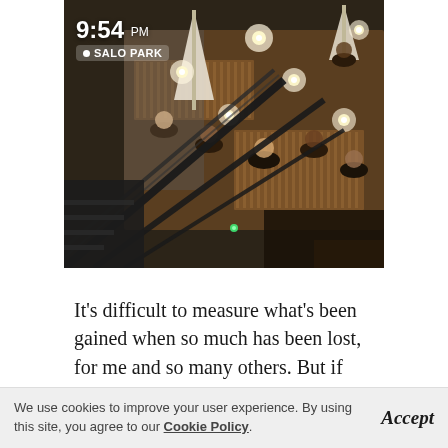[Figure (photo): Aerial/overhead view of an outdoor restaurant patio at night (9:54 PM) at Salo Park. People are dining at wooden tables with warm Edison bulb string lights overhead. A staircase railing is visible in the foreground. The timestamp '9:54 PM' and location '• SALO PARK' are overlaid in the top-left corner.]
It's difficult to measure what's been gained when so much has been lost, for me and so many others. But if anything...
We use cookies to improve your user experience. By using this site, you agree to our Cookie Policy.